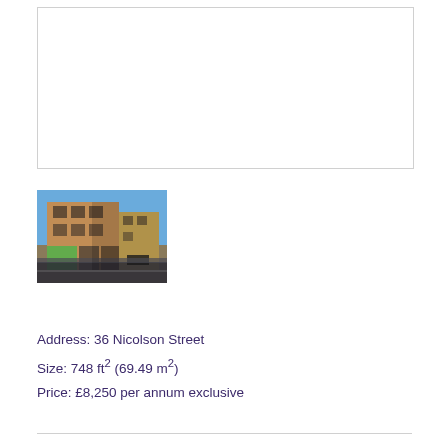[Figure (other): Empty white box with light grey border at top of listing]
[Figure (photo): Exterior photo of a multi-storey brick commercial building at 36 Nicolson Street, street-level shops visible, blue sky background]
Address: 36 Nicolson Street
Size: 748 ft² (69.49 m²)
Price: £8,250 per annum exclusive